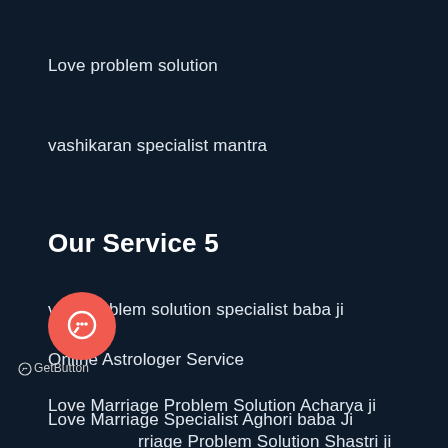Love problem solution
vashikaran specialist mantra
Our Service 5
visa problem solution specialist baba ji
Online Astrologer Service
Love Marriage Problem Solution Acharya ji
Love Marriage Problem Solution Shastri ji
[Figure (illustration): Coral/red circular chat button with speech bubble icon]
GetButton
Love Marriage Specialist Aghori baba Ji